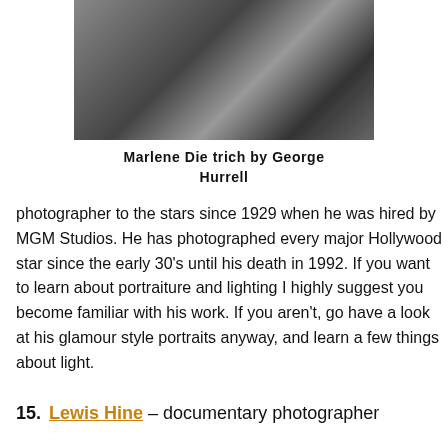[Figure (photo): Black and white glamour photograph of Marlene Dietrich by George Hurrell, showing close-up with dramatic lighting and a signature visible.]
Marlene Dietrich by George Hurrell
photographer to the stars since 1929 when he was hired by MGM Studios. He has photographed every major Hollywood star since the early 30’s until his death in 1992. If you want to learn about portraiture and lighting I highly suggest you become familiar with his work. If you aren’t, go have a look at his glamour style portraits anyway, and learn a few things about light.
15. Lewis Hine – documentary photographer